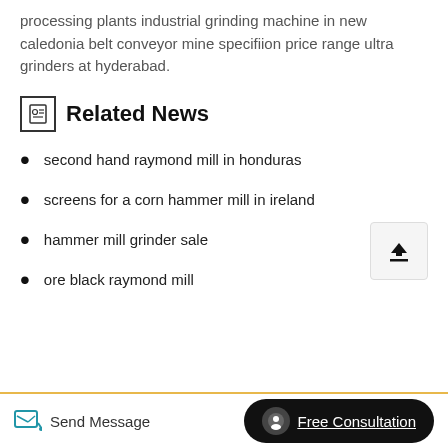processing plants industrial grinding machine in new caledonia belt conveyor mine specifiion price range ultra grinders at hyderabad.
Related News
second hand raymond mill in honduras
screens for a corn hammer mill in ireland
hammer mill grinder sale
ore black raymond mill
Send Message  Free Consultation